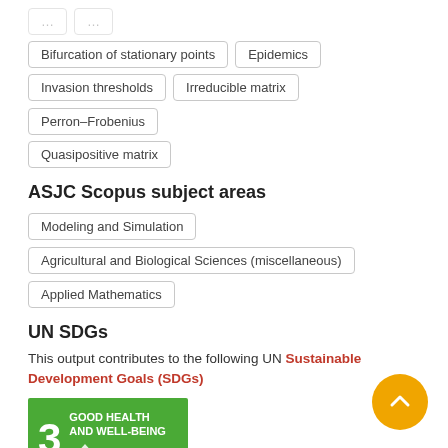Bifurcation of stationary points
Epidemics
Invasion thresholds
Irreducible matrix
Perron–Frobenius
Quasipositive matrix
ASJC Scopus subject areas
Modeling and Simulation
Agricultural and Biological Sciences (miscellaneous)
Applied Mathematics
UN SDGs
This output contributes to the following UN Sustainable Development Goals (SDGs)
[Figure (infographic): UN SDG 3 icon: Good Health and Well-being, green background with number 3 and text GOOD HEALTH AND WELL-BEING]